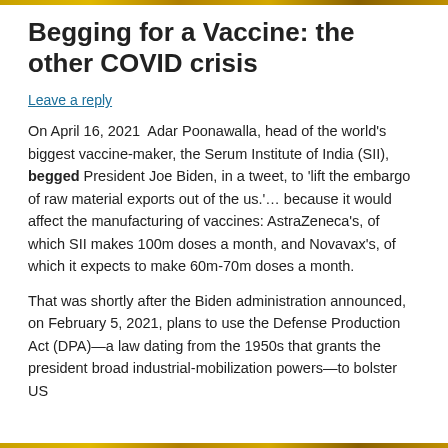Begging for a Vaccine: the other COVID crisis
Leave a reply
On April 16, 2021  Adar Poonawalla, head of the world's biggest vaccine-maker, the Serum Institute of India (SII), begged President Joe Biden, in a tweet, to 'lift the embargo of raw material exports out of the us.'... because it would affect the manufacturing of vaccines: AstraZeneca's, of which SII makes 100m doses a month, and Novavax's, of which it expects to make 60m-70m doses a month.
That was shortly after the Biden administration announced, on February 5, 2021, plans to use the Defense Production Act (DPA)—a law dating from the 1950s that grants the president broad industrial-mobilization powers—to bolster US